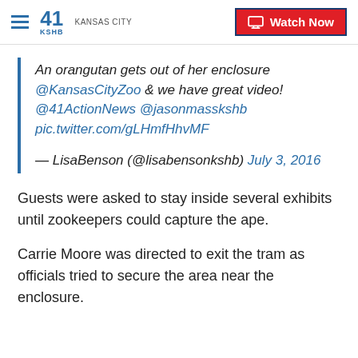41 KSHB KANSAS CITY | Watch Now
An orangutan gets out of her enclosure @KansasCityZoo & we have great video! @41ActionNews @jasonmasskshb pic.twitter.com/gLHmfHhvMF

— LisaBenson (@lisabensonkshb) July 3, 2016
Guests were asked to stay inside several exhibits until zookeepers could capture the ape.
Carrie Moore was directed to exit the tram as officials tried to secure the area near the enclosure.